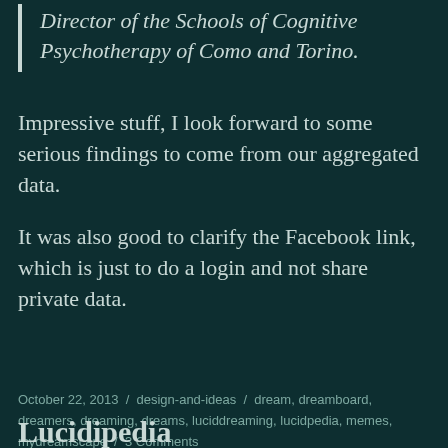Director of the Schools of Cognitive Psychotherapy of Como and Torino.
Impressive stuff, I look forward to some serious findings to come from our aggregated data.
It was also good to clarify the Facebook link, which is just to do a login and not share private data.
October 22, 2013 / design-and-ideas / dream, dreamboard, dreamers, dreaming, dreams, luciddreaming, lucidpedia, memes, mydreamscape / 3 Comments
Lucidipedia